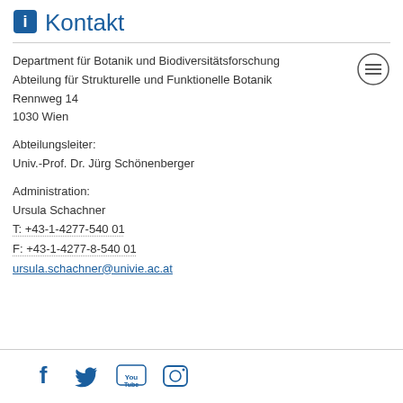Kontakt
Department für Botanik und Biodiversitätsforschung
Abteilung für Strukturelle und Funktionelle Botanik
Rennweg 14
1030 Wien
Abteilungsleiter:
Univ.-Prof. Dr. Jürg Schönenberger
Administration:
Ursula Schachner
T: +43-1-4277-540 01
F: +43-1-4277-8-540 01
ursula.schachner@univie.ac.at
[Figure (other): Social media icons: Facebook, Twitter, YouTube, Instagram in blue]